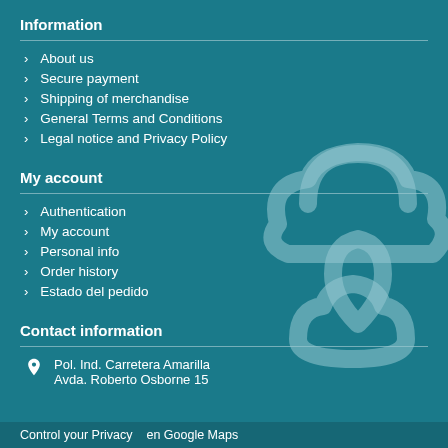Information
About us
Secure payment
Shipping of merchandise
General Terms and Conditions
Legal notice and Privacy Policy
My account
Authentication
My account
Personal info
Order history
Estado del pedido
Contact information
Pol. Ind. Carretera Amarilla
Avda. Roberto Osborne 15
Control your Privacy   en Google Maps